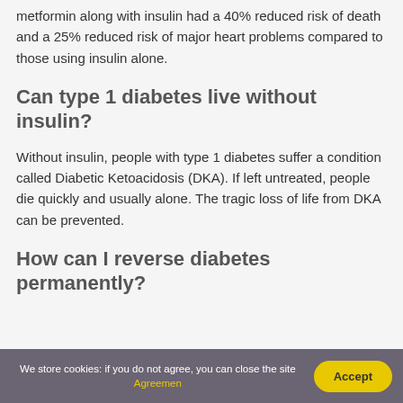metformin along with insulin had a 40% reduced risk of death and a 25% reduced risk of major heart problems compared to those using insulin alone.
Can type 1 diabetes live without insulin?
Without insulin, people with type 1 diabetes suffer a condition called Diabetic Ketoacidosis (DKA). If left untreated, people die quickly and usually alone. The tragic loss of life from DKA can be prevented.
How can I reverse diabetes permanently?
We store cookies: if you do not agree, you can close the site Agreement